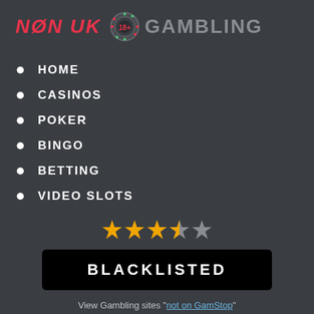NØN UK 🎰 GAMBLING
HOME
CASINOS
POKER
BINGO
BETTING
VIDEO SLOTS
[Figure (other): Star rating: 4 out of 5 stars (4 filled gold stars and 1 grey star)]
BLACKLISTED
View Gambling sites "not on GamStop"
which accepts UK players 🇬🇧 ❌
Play on a mobile phone
Huge range of player bonus offers